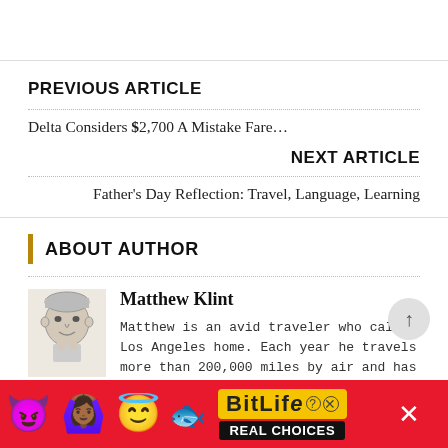PREVIOUS ARTICLE
Delta Considers $2,700 A Mistake Fare…
NEXT ARTICLE
Father's Day Reflection: Travel, Language, Learning
ABOUT AUTHOR
[Figure (photo): Headshot illustration of Matthew Klint, a man in his 30s-40s, black and white sketch style]
Matthew Klint
Matthew is an avid traveler who calls Los Angeles home. Each year he travels more than 200,000 miles by air and has visited more than 135 countries. Working both in the aviation industry and travel and
[Figure (screenshot): BitLife REAL CHOICES advertisement banner with emoji characters (devil, woman with hands up, angel) on a red background]